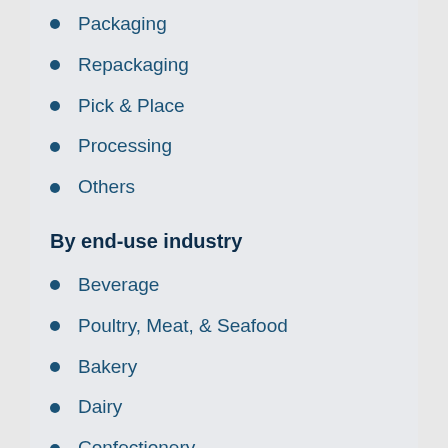Packaging
Repackaging
Pick & Place
Processing
Others
By end-use industry
Beverage
Poultry, Meat, & Seafood
Bakery
Dairy
Confectionery
Fruits & Vegetables
Other End-Use Industries